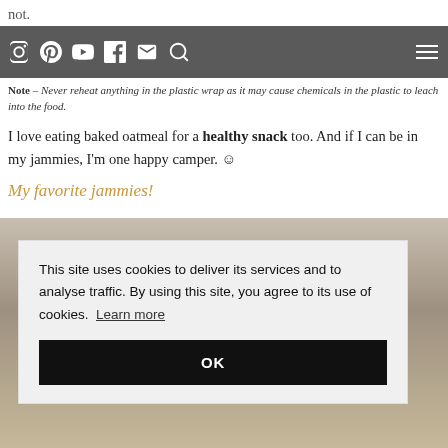not.
[navigation bar with social icons: Instagram, Pinterest, YouTube, Facebook, Email, Search, and hamburger menu]
Note – Never reheat anything in the plastic wrap as it may cause chemicals in the plastic to leach into the food.
I love eating baked oatmeal for a healthy snack too. And if I can be in my jammies, I'm one happy camper. ☺
My favorite jammies!
[Figure (photo): Photo of a person in pajamas, partially obscured by cookie consent overlay]
This site uses cookies to deliver its services and to analyse traffic. By using this site, you agree to its use of cookies. Learn more
OK